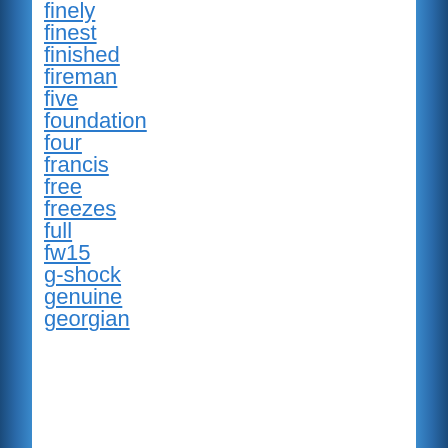finely
finest
finished
fireman
five
foundation
four
francis
free
freezes
full
fw15
g-shock
genuine
georgian